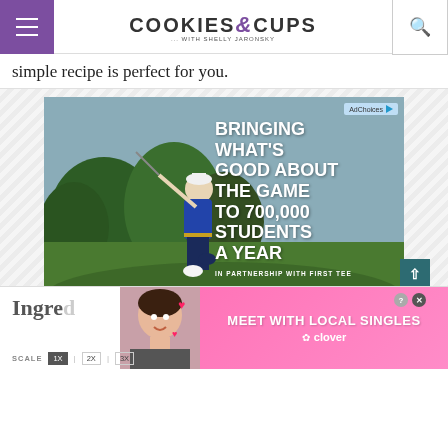Cookies & Cups with Shelly Jaronsky — navigation header with hamburger menu and search
simple recipe is perfect for you.
[Figure (photo): Advertisement: Southern Company golf ad showing a golfer swinging on a green course. Text reads: BRINGING WHAT'S GOOD ABOUT THE GAME TO 700,000 STUDENTS A YEAR. IN PARTNERSHIP WITH FIRST TEE. Southern Company logo. LEARN MORE button. AdChoices label in top right corner.]
[Figure (photo): Advertisement: Meet with Local Singles - Clover dating app ad. Shows a woman smiling with hearts. Pink and magenta gradient background.]
Ingre
SCALE | 1X | 2X | 3X